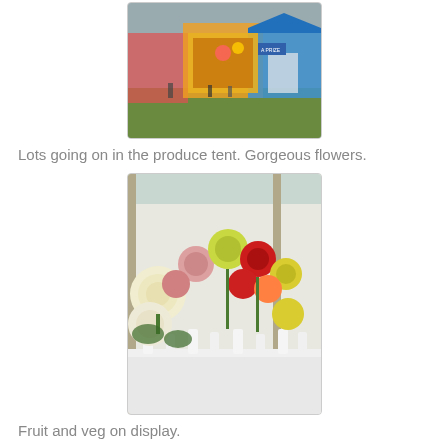[Figure (photo): Colorful fairground scene with rides, stalls including a blue prize tent, and people on green grass under an overcast sky]
Lots going on in the produce tent. Gorgeous flowers.
[Figure (photo): Inside a produce tent showing rows of prize dahlias in white vases on a white-draped table — white, pink, yellow, red, and crimson blooms]
Fruit and veg on display.
[Figure (photo): Close-up of corn/sweetcorn and other vegetables on display inside a tent]